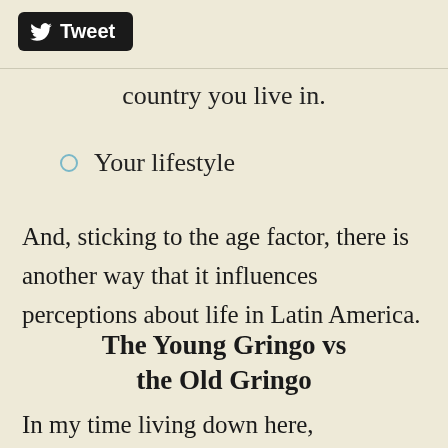[Figure (other): Twitter Tweet button with bird logo, black background, white text]
country you live in.
Your lifestyle
And, sticking to the age factor, there is another way that it influences perceptions about life in Latin America.
The Young Gringo vs the Old Gringo
In my time living down here, I've met gringos much older